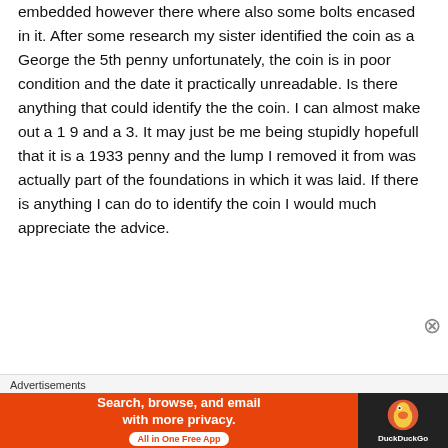embedded however there where also some bolts encased in it. After some research my sister identified the coin as a George the 5th penny unfortunately, the coin is in poor condition and the date it practically unreadable. Is there anything that could identify the the coin. I can almost make out a 1 9 and a 3. It may just be me being stupidly hopefull that it is a 1933 penny and the lump I removed it from was actually part of the foundations in which it was laid. If there is anything I can do to identify the coin I would much appreciate the advice.
Advertisements
[Figure (other): DuckDuckGo advertisement banner: 'Search, browse, and email with more privacy. All in One Free App' with DuckDuckGo duck logo on dark background.]